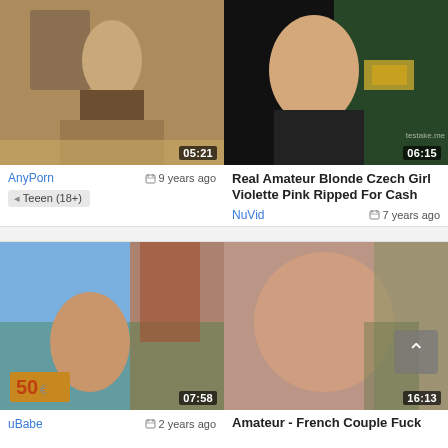[Figure (screenshot): Video thumbnail top-left, outdoor scene, duration 05:21]
[Figure (screenshot): Video thumbnail top-right, blonde woman, duration 06:15, watermark testake.me]
AnyPorn   9 years ago
Teeen (18+)
Real Amateur Blonde Czech Girl Violette Pink Ripped For Cash
NuVid   7 years ago
[Figure (screenshot): Video thumbnail bottom-left, brunette woman outdoors with euro notes, duration 07:58]
[Figure (screenshot): Video thumbnail bottom-right, couple, duration 16:13, scroll-to-top button]
uBabe   2 years ago
Amateur - French Couple Fuck